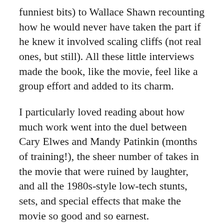funniest bits) to Wallace Shawn recounting how he would never have taken the part if he knew it involved scaling cliffs (not real ones, but still). All these little interviews made the book, like the movie, feel like a group effort and added to its charm.
I particularly loved reading about how much work went into the duel between Cary Elwes and Mandy Patinkin (months of training!), the sheer number of takes in the movie that were ruined by laughter, and all the 1980s-style low-tech stunts, sets, and special effects that make the movie so good and so earnest.
The audiobook was just perfect. Elwes is a wonderful reader (I mean, it’s like having